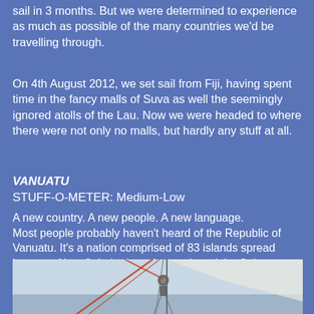sail in 3 months. But we were determined to experience as much as possible of the many countries we'd be travelling through.
On 4th August 2012, we set sail from Fiji, having spent time in the fancy malls of Suva as well the seemingly ignored atolls of the Lau. Now we were headed to where there were not only no malls, but hardly any stuff at all.
VANUATU
STUFF-O-METER: Medium-Low
A new country. A new people. A new language. Most people probably haven't heard of the Republic of Vanuatu. It's a nation comprised of 83 islands spread between New Caledonia to the south and the Solomon Islands to the north. It was managed by both France and England (when it was called New Hebrides) until it gained independence in 1980.
[Figure (photo): A photograph taken from a sailing boat showing rigging, ropes and hardware against a pale overcast sky.]